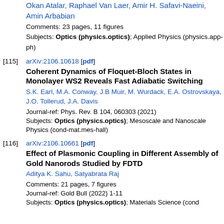Okan Atalar, Raphael Van Laer, Amir H. Safavi-Naeini, Amin Arbabian
Comments: 23 pages, 11 figures
Subjects: Optics (physics.optics); Applied Physics (physics.app-ph)
[115] arXiv:2106.10618 [pdf]
Coherent Dynamics of Floquet-Bloch States in Monolayer WS2 Reveals Fast Adiabatic Switching
S.K. Earl, M.A. Conway, J.B Muir, M. Wurdack, E.A. Ostrovskaya, J.O. Tollerud, J.A. Davis
Journal-ref: Phys. Rev. B 104, 060303 (2021)
Subjects: Optics (physics.optics); Mesoscale and Nanoscale Physics (cond-mat.mes-hall)
[116] arXiv:2106.10661 [pdf]
Effect of Plasmonic Coupling in Different Assembly of Gold Nanorods Studied by FDTD
Aditya K. Sahu, Satyabrata Raj
Comments: 21 pages, 7 figures
Journal-ref: Gold Bull (2022) 1-11
Subjects: Optics (physics.optics); Materials Science (cond...